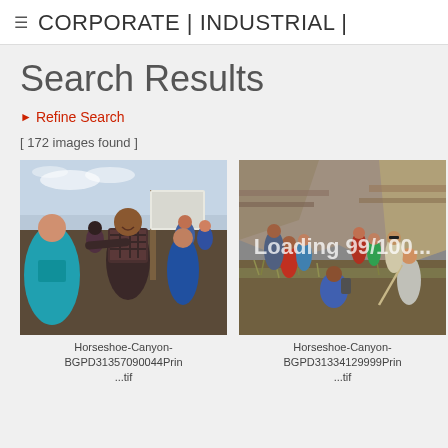CORPORATE | INDUSTRIAL |
Search Results
▶ Refine Search
[ 172 images found ]
[Figure (photo): Group of children and youth standing outdoors at a sign in an open prairie landscape. A boy in a black plaid hoodie stands prominently in center, a child in a teal t-shirt is at left foreground. Other children visible in background.]
Horseshoe-Canyon-BGPD31357090044Prin ...tif
[Figure (photo): Group of children and adults exploring a badlands/canyon landscape. Rocky hills and dried grasses visible. Adults and children scattered across the slope. One person holds a long stick/pole. A loading overlay text is partially visible reading 'Loading 99/100...']
Horseshoe-Canyon-BGPD31334129999Prin ...tif